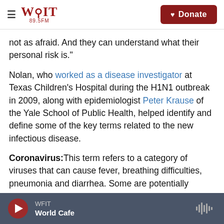WFIT 89.5FM | Donate
not as afraid. And they can understand what their personal risk is."
Nolan, who worked as a disease investigator at Texas Children's Hospital during the H1N1 outbreak in 2009, along with epidemiologist Peter Krause of the Yale School of Public Health, helped identify and define some of the key terms related to the new infectious disease.
Coronavirus: This term refers to a category of viruses that can cause fever, breathing difficulties, pneumonia and diarrhea. Some are potentially
WFIT | World Cafe